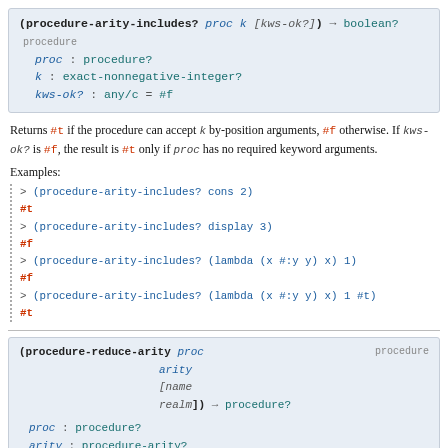(procedure-arity-includes? proc k [kws-ok?]) → boolean? procedure
  proc : procedure?
  k : exact-nonnegative-integer?
  kws-ok? : any/c = #f
Returns #t if the procedure can accept k by-position arguments, #f otherwise. If kws-ok? is #f, the result is #t only if proc has no required keyword arguments.
Examples:
> (procedure-arity-includes? cons 2)
#t
> (procedure-arity-includes? display 3)
#f
> (procedure-arity-includes? (lambda (x #:y y) x) 1)
#f
> (procedure-arity-includes? (lambda (x #:y y) x) 1 #t)
#t
(procedure-reduce-arity proc arity [name realm]) → procedure?
  proc : procedure?
  arity : procedure-arity?
  name : (or/c symbol? #f) = #f
  realm : symbol? = 'racket